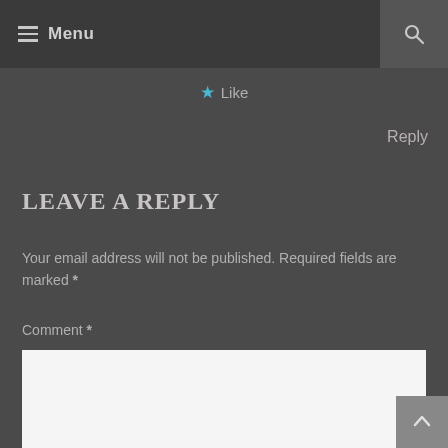Menu
★ Like
Reply
LEAVE A REPLY
Your email address will not be published. Required fields are marked *
Comment *